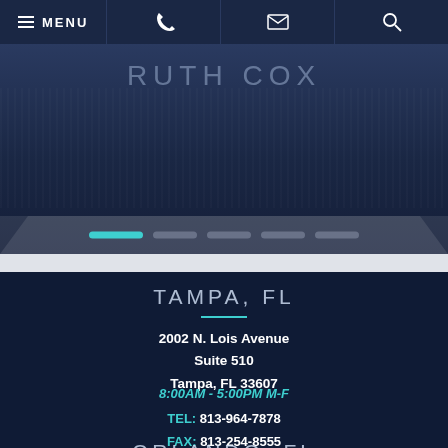MENU
[Figure (screenshot): Website header with partial text 'RUTH COX' visible, dark blue background with decorative dot pattern and slider navigation bar]
TAMPA, FL
2002 N. Lois Avenue
Suite 510
Tampa, FL 33607
8:00AM - 5:00PM M-F
TEL: 813-964-7878
FAX: 813-254-8555
ORLANDO, FL